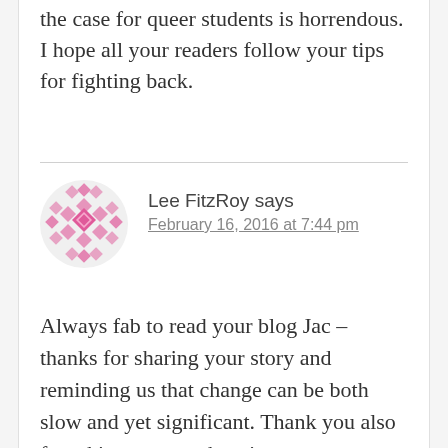the case for queer students is horrendous. I hope all your readers follow your tips for fighting back.
Lee FitzRoy says
February 16, 2016 at 7:44 pm
Always fab to read your blog Jac – thanks for sharing your story and reminding us that change can be both slow and yet significant. Thank you also for taking us on a short journey to another place and sharing your and Sue's profoundly different experience of going to school.